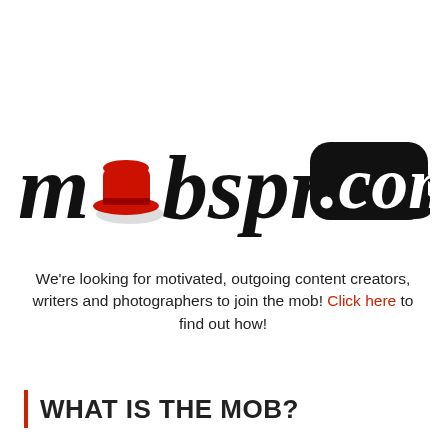[Figure (logo): mobspress.com logo — stylized italic black text 'mobspress' with a red fedora hat replacing the letter 'o', and '.com' in white text on a black rounded rectangle badge]
We're looking for motivated, outgoing content creators, writers and photographers to join the mob! Click here to find out how!
WHAT IS THE MOB?